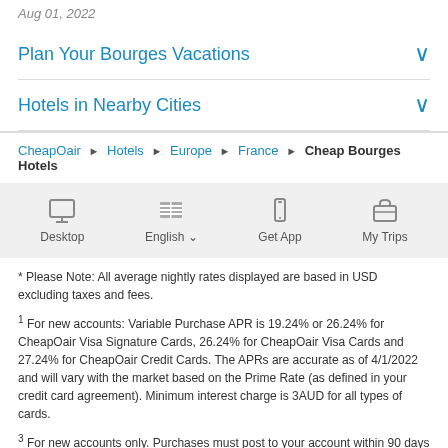Aug 01, 2022
Plan Your Bourges Vacations
Hotels in Nearby Cities
CheapOair ▶ Hotels ▶ Europe ▶ France ▶ Cheap Bourges Hotels
[Figure (infographic): Footer nav bar with icons: Desktop, English (flag icon), Get App (phone icon), My Trips (suitcase icon)]
* Please Note: All average nightly rates displayed are based in USD excluding taxes and fees.
1 For new accounts: Variable Purchase APR is 19.24% or 26.24% for CheapOair Visa Signature Cards, 26.24% for CheapOair Visa Cards and 27.24% for CheapOair Credit Cards. The APRs are accurate as of 4/1/2022 and will vary with the market based on the Prime Rate (as defined in your credit card agreement). Minimum interest charge is 3AUD for all types of cards.
3 For new accounts only. Purchases must post to your account within 90 days of account opening to be eligible for this offer. Only one 72AUD statement credit can be ...